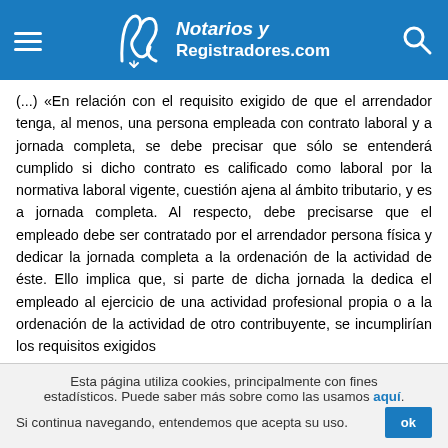Notarios y Registradores.com
(...) «En relación con el requisito exigido de que el arrendador tenga, al menos, una persona empleada con contrato laboral y a jornada completa, se debe precisar que sólo se entenderá cumplido si dicho contrato es calificado como laboral por la normativa laboral vigente, cuestión ajena al ámbito tributario, y es a jornada completa. Al respecto, debe precisarse que el empleado debe ser contratado por el arrendador persona física y dedicar la jornada completa a la ordenación de la actividad de éste. Ello implica que, si parte de dicha jornada la dedica el empleado al ejercicio de una actividad profesional propia o a la ordenación de la actividad de otro contribuyente, se incumplirían los requisitos exigidos
Esta página utiliza cookies, principalmente con fines estadísticos. Puede saber más sobre como las usamos aquí. Si continua navegando, entendemos que acepta su uso.